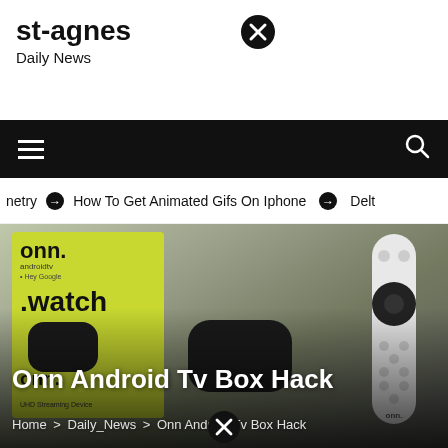st-agnes
Daily News
[Figure (screenshot): Close/X button icon at top right of header]
Navigation bar with hamburger menu and search icon
netry  ⊙ How To Get Animated Gifs On Iphone  ⊙ Delt
[Figure (photo): Hero image showing onn. Android TV box in yellow packaging alongside the black streaming device and white remote control]
Onn Android Tv Box Hack
Home > Daily_News > Onn Android Tv Box Hack